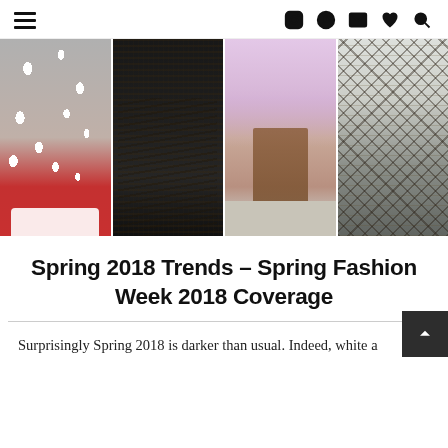Navigation header with hamburger menu and icons: Instagram, Pinterest, Email, Heart, Search
[Figure (photo): Four-panel fashion photo strip showing legs and shoes/outfits: panel 1 - polka dot dress with white shoes on red carpet; panel 2 - black feathered outfit with black boots; panel 3 - pink dress with strappy heels on a model with dark skin; panel 4 - plaid outfit with patterned tights.]
Spring 2018 Trends – Spring Fashion Week 2018 Coverage
Surprisingly Spring 2018 is darker than usual. Indeed, white a